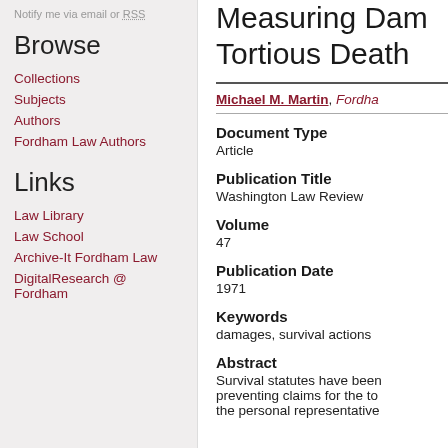Notify me via email or RSS
Browse
Collections
Subjects
Authors
Fordham Law Authors
Links
Law Library
Law School
Archive-It Fordham Law
DigitalResearch @ Fordham
Measuring Dam... Tortious Death
Michael M. Martin, Fordha...
Document Type
Article
Publication Title
Washington Law Review
Volume
47
Publication Date
1971
Keywords
damages, survival actions
Abstract
Survival statutes have been preventing claims for the to... the personal representative...